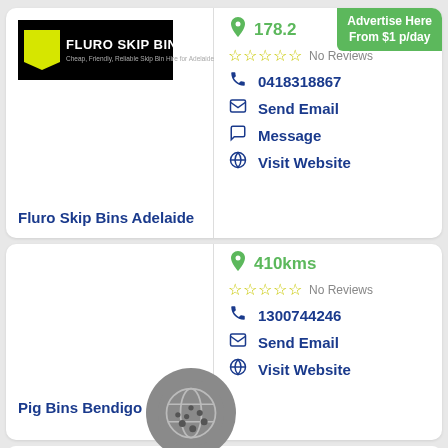[Figure (logo): Fluro Skip Bins logo with yellow chevron shape on black background]
178.2
Advertise Here From $1 p/day
No Reviews
0418318867
Send Email
Message
Visit Website
Fluro Skip Bins Adelaide
410kms
No Reviews
1300744246
Send Email
Visit Website
Pig Bins Bendigo